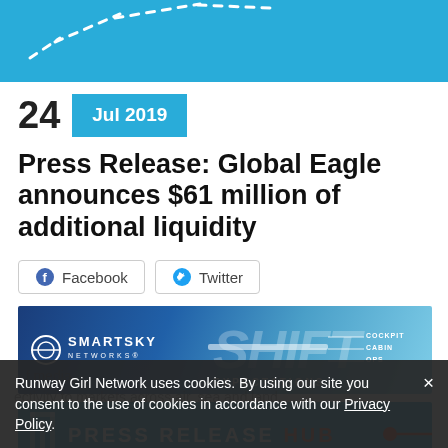[Figure (illustration): Cyan/blue header banner with white dashed diagonal line pattern]
24  Jul 2019
Press Release: Global Eagle announces $61 million of additional liquidity
Facebook  Twitter (share buttons)
[Figure (illustration): SmartSky Networks advertisement banner — SHIFT EXPECTATIONS with COCKPIT, CABIN, OPS labels]
[Figure (illustration): Press Release Hub advertisement banner in cyan with coral HUB text]
Runway Girl Network uses cookies. By using our site you consent to the use of cookies in accordance with our Privacy Policy. (cookie consent overlay)
...connectivity to markets across air, sea and land, (partially obscured text behind cookie banner)